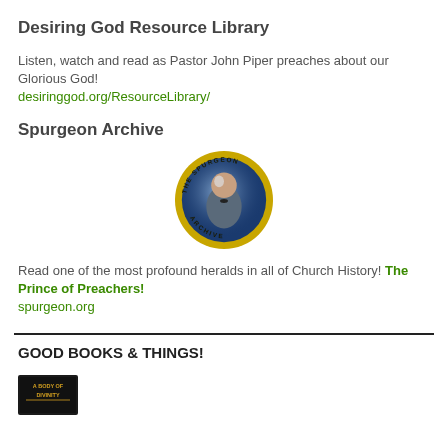Desiring God Resource Library
Listen, watch and read as Pastor John Piper preaches about our Glorious God!
desiringgod.org/ResourceLibrary/
Spurgeon Archive
[Figure (logo): Circular badge logo for The Spurgeon Archive featuring a portrait of Charles Spurgeon with gold border text reading THE SPURGEON ARCHIVE]
Read one of the most profound heralds in all of Church History! The Prince of Preachers!
spurgeon.org
GOOD BOOKS & THINGS!
[Figure (logo): A Body of Divinity book cover logo with dark background and gold/orange text]